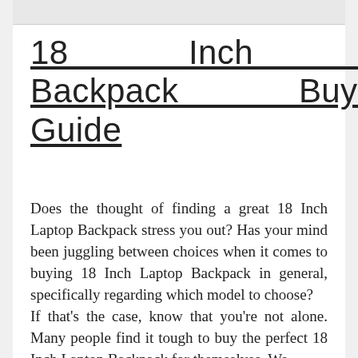[Figure (other): Top image bar placeholder — light grey rectangle at top of white card]
18 Inch Laptop Backpack Buying Guide
Does the thought of finding a great 18 Inch Laptop Backpack stress you out? Has your mind been juggling between choices when it comes to buying 18 Inch Laptop Backpack in general, specifically regarding which model to choose?
If that's the case, know that you're not alone. Many people find it tough to buy the perfect 18 Inch Laptop Backpack for themselves. We